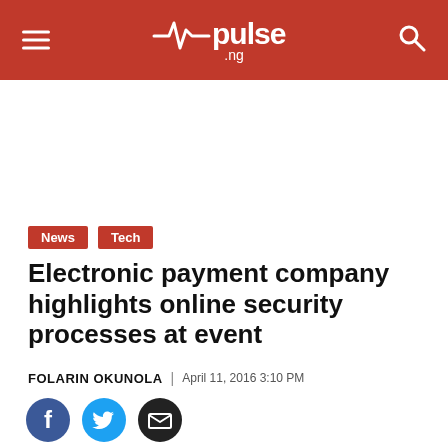pulse.ng
[Figure (logo): Pulse.ng logo with heartbeat icon, white text on red background]
News  Tech
Electronic payment company highlights online security processes at event
FOLARIN OKUNOLA | April 11, 2016 3:10 PM
[Figure (other): Social share icons: Facebook (blue circle), Twitter (light blue circle), Email (black circle)]